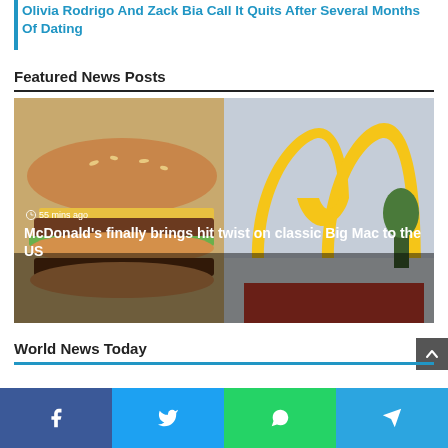Olivia Rodrigo And Zack Bia Call It Quits After Several Months Of Dating
Featured News Posts
[Figure (photo): A McDonald's Big Mac burger on the left side, with the large golden arches McDonald's logo sign on the right, against a cloudy sky with trees in background. Overlay text shows '55 mins ago' and article title 'McDonald's finally brings hit twist on classic Big Mac to the US']
World News Today
Facebook | Twitter | WhatsApp | Telegram sharing buttons